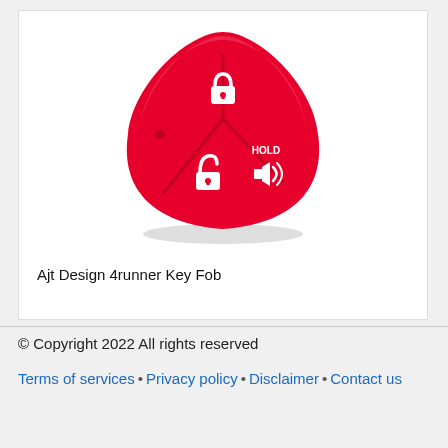[Figure (photo): Red silicone key fob cover for Toyota 4runner with 3 buttons: lock (padlock closed icon), unlock (padlock open icon), and alarm/horn (HOLD label with speaker/sound wave icon). The fob is triangular/rounded shape in red.]
Ajt Design 4runner Key Fob
© Copyright 2022 All rights reserved
Terms of services • Privacy policy • Disclaimer • Contact us